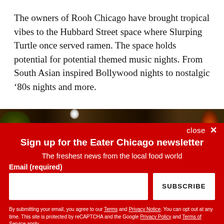The owners of Rooh Chicago have brought tropical vibes to the Hubbard Street space where Slurping Turtle once served ramen. The space holds potential for potential themed music nights. From South Asian inspired Bollywood nights to nostalgic ‘80s nights and more.
[Figure (photo): Interior photo of a restaurant/bar space with dark warm lighting, glowing amber pendant lights, and tropical greenery visible.]
close ×
Sign up for the Eater Chicago newsletter
The freshest news from the local food world
Email (required)
SUBSCRIBE
By submitting your email, you agree to our Terms and Privacy Notice. You can opt out at any time. This site is protected by reCAPTCHA and the Google Privacy Policy and Terms of Service apply.